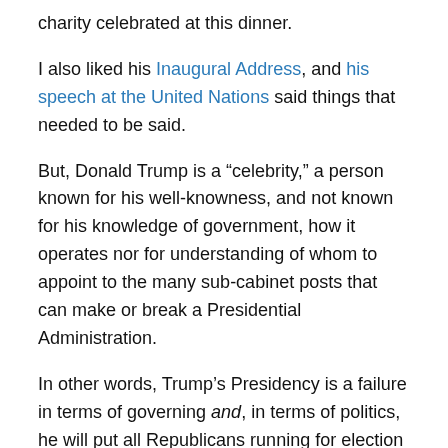charity celebrated at this dinner.
I also liked his Inaugural Address, and his speech at the United Nations said things that needed to be said.
But, Donald Trump is a “celebrity,” a person known for his well-knowness, and not known for his knowledge of government, how it operates nor for understanding of whom to appoint to the many sub-cabinet posts that can make or break a Presidential Administration.
In other words, Trump’s Presidency is a failure in terms of governing and, in terms of politics, he will put all Republicans running for election in 2018 at risk and he will lose the 2020 Presidential election.
In other words, if conservatives want a place in American politics they must organize now and find a leader to